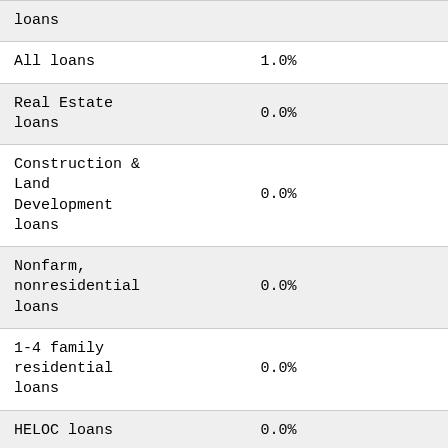| Loan Type | Rate |
| --- | --- |
| loans |  |
| All loans | 1.0% |
| Real Estate loans | 0.0% |
| Construction & Land Development loans | 0.0% |
| Nonfarm, nonresidential loans | 0.0% |
| 1-4 family residential loans | 0.0% |
| HELOC loans | 0.0% |
| All other family | 0.0% |
| Personal loans | 0.0% |